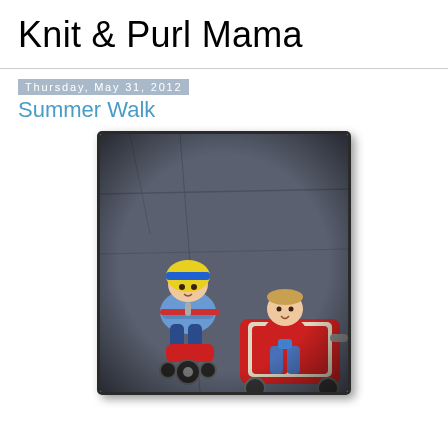Knit & Purl Mama
Thursday, May 31, 2012
Summer Walk
[Figure (photo): Two young children outdoors on pavement. On the left, a child wearing a yellow and blue helmet sits on a small red scooter/tricycle with arms crossed on the handlebars. On the right, a child in a red shirt and jeans sits in a red wagon/ride-on toy. Photo has a vintage/instagram style with dark vignette border.]